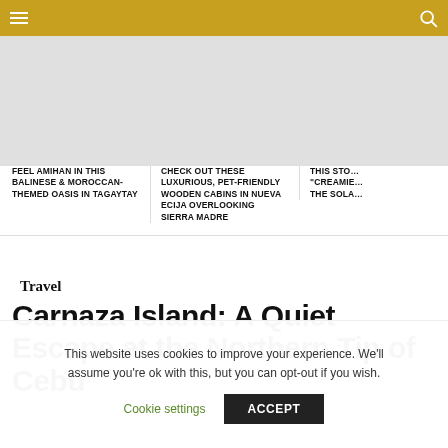Navigation bar with menu and search icons
[Figure (photo): Gray placeholder image strip for article thumbnails]
FEEL AMIHAN IN THIS BALINESE & MOROCCAN-THEMED OASIS IN TAGAYTAY
CHECK OUT THESE LUXURIOUS, PET-FRIENDLY WOODEN CABINS IN NUEVA ECIJA OVERLOOKING SIERRA MADRE
THIS STO… "CREAMIE… THE SOLA…
Travel
Carnaza Island: A Quiet Escape at the Northern Tip of Cebu
This website uses cookies to improve your experience. We'll assume you're ok with this, but you can opt-out if you wish.
Cookie settings   ACCEPT